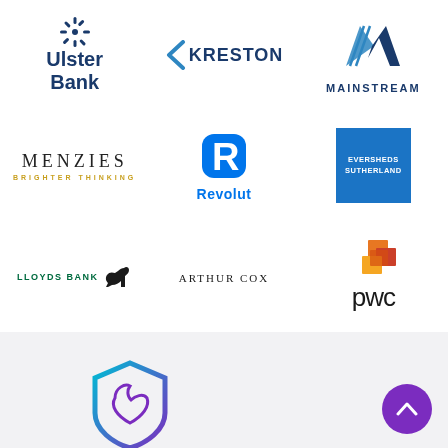[Figure (logo): Ulster Bank logo - snowflake/star icon above text 'Ulster Bank' in dark blue]
[Figure (logo): Kreston logo - blue chevron/K icon followed by KRESTON text in dark blue]
[Figure (logo): Mainstream logo - blue/dark blue overlapping M chevron shapes above MAINSTREAM text]
[Figure (logo): Menzies Brighter Thinking logo - serif MENZIES text with golden BRIGHTER THINKING subtitle]
[Figure (logo): Revolut logo - blue R icon above blue Revolut text]
[Figure (logo): Eversheds Sutherland logo - white text on blue square background]
[Figure (logo): Lloyds Bank logo - green text with black horse icon]
[Figure (logo): Arthur Cox logo - serif spaced lettering]
[Figure (logo): PwC logo - orange/red stacked squares above lowercase pwc text]
[Figure (logo): Partial shield logo in teal/purple gradient at bottom]
[Figure (illustration): Purple circle button with white upward chevron arrow at bottom right]